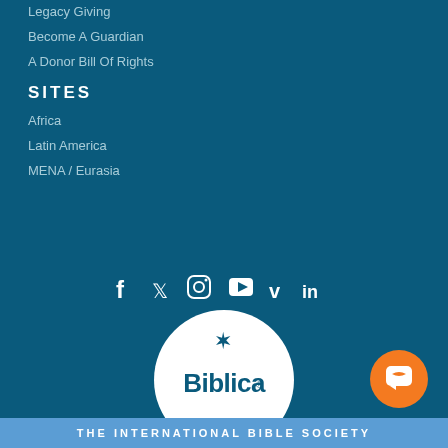Legacy Giving
Become A Guardian
A Donor Bill Of Rights
SITES
Africa
Latin America
MENA / Eurasia
[Figure (logo): Social media icons: Facebook, Twitter, Instagram, YouTube, Vimeo, LinkedIn]
[Figure (logo): Biblica logo - circular white logo with star and text 'Biblica. THE INTERNATIONAL BIBLE SOCIETY']
THE INTERNATIONAL BIBLE SOCIETY